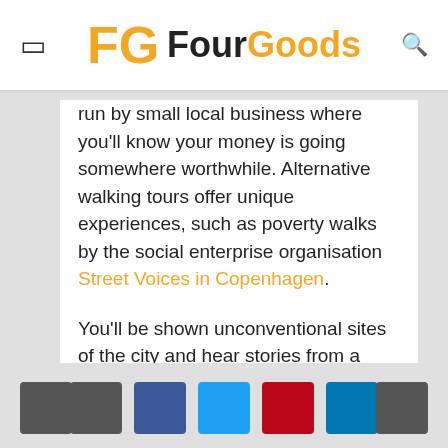FG FourGoods
run by small local business where you'll know your money is going somewhere worthwhile. Alternative walking tours offer unique experiences, such as poverty walks by the social enterprise organisation Street Voices in Copenhagen.
You'll be shown unconventional sites of the city and hear stories from a guide who has experienced homelessness, addiction or a different hardship there. These tours give the socially vulnerable a voice and help to improve their standard of living.
If you wish to experience animals, be aware that many organisations still use brute force to tame
Social share buttons and navigation